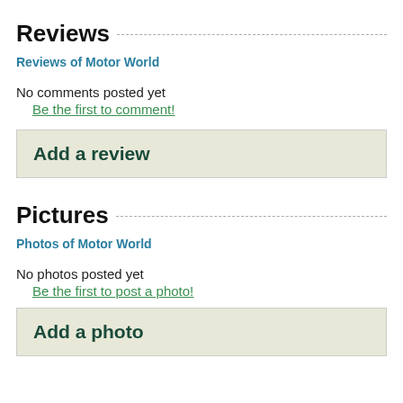Reviews
Reviews of Motor World
No comments posted yet
Be the first to comment!
Add a review
Pictures
Photos of Motor World
No photos posted yet
Be the first to post a photo!
Add a photo